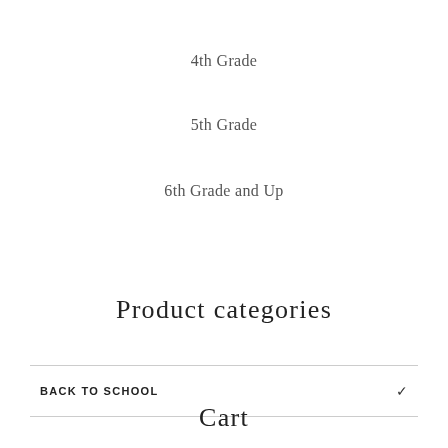4th Grade
5th Grade
6th Grade and Up
Product categories
BACK TO SCHOOL
Cart